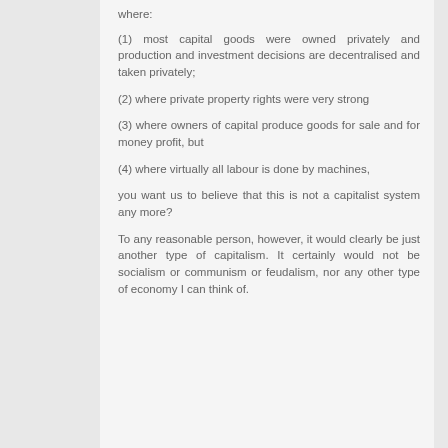where:
(1) most capital goods were owned privately and production and investment decisions are decentralised and taken privately;
(2) where private property rights were very strong
(3) where owners of capital produce goods for sale and for money profit, but
(4) where virtually all labour is done by machines,
you want us to believe that this is not a capitalist system any more?
To any reasonable person, however, it would clearly be just another type of capitalism. It certainly would not be socialism or communism or feudalism, nor any other type of economy I can think of.